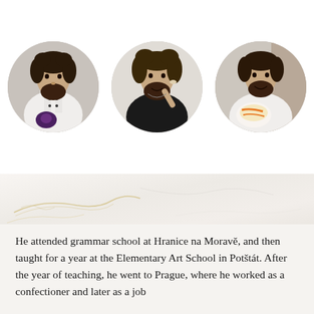[Figure (photo): Three circular portrait photos of the same bearded man with curly hair: left photo shows him in a white chef's coat holding a dark flower/dessert decoration; center photo shows him in a black shirt tasting something from a small spoon; right photo shows him in a white chef's coat holding white and orange pastries/desserts.]
[Figure (photo): Marble texture background with gold/yellow veining running diagonally across the surface.]
He attended grammar school at Hranice na Moravě, and then taught for a year at the Elementary Art School in Potštát. After the year of teaching, he went to Prague, where he worked as a confectioner and later as a job